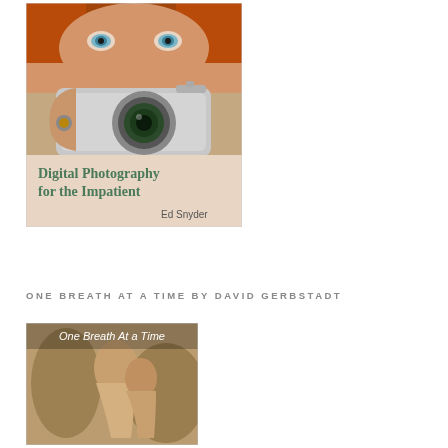[Figure (photo): Book cover of 'Digital Photography for the Impatient' by Ed Snyder. Shows a red-haired person holding a silver digital camera close to their face, with the book title and author name on a beige/pink lower section.]
ONE BREATH AT A TIME BY DAVID GERBSTADT
[Figure (photo): Book cover of 'One Breath At a Time' showing a sepia-toned vintage photograph of two people in an intimate pose, with the title text overlaid at the top.]